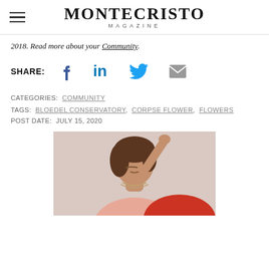MONTECRISTO MAGAZINE
2018. Read more about your Community.
SHARE: [Facebook] [LinkedIn] [Twitter] [Email]
CATEGORIES: COMMUNITY
TAGS: BLOEDEL CONSERVATORY, CORPSE FLOWER, FLOWERS
POST DATE: JULY 15, 2020
[Figure (photo): A young person with brown hair, wearing a pink top and layered necklaces, with their hand raised to their head against a neutral background.]